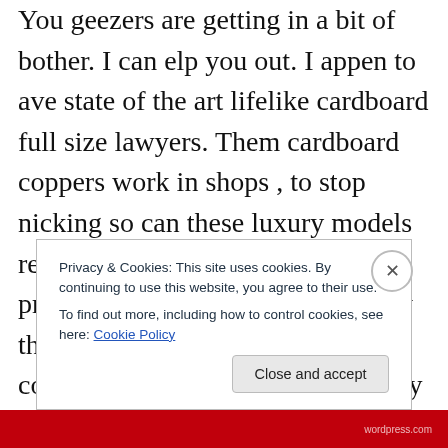You geezers are getting in a bit of bother. I can elp you out. I appen to ave state of the art lifelike cardboard full size lawyers. Them cardboard coppers work in shops , to stop nicking so can these luxury models replace the real ones at a bargain price . Cos you lot are into equality these upmarket models come complete with slots, like those dolly dressing up books so you can dress them as male or female or in between. To be frank most of them look more in between than anything ,but that's politically correct innit. They
Privacy & Cookies: This site uses cookies. By continuing to use this website, you agree to their use.
To find out more, including how to control cookies, see here: Cookie Policy
Close and accept